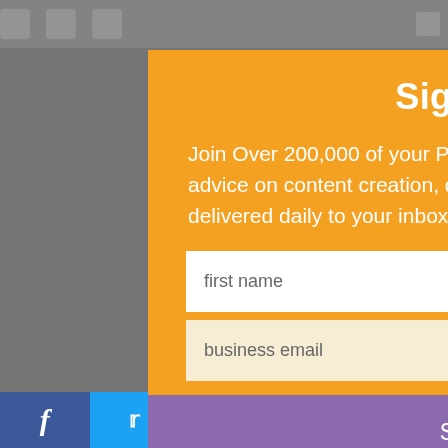[Figure (screenshot): Background website content partially visible behind modal overlay, including top navigation bar icons, heading text 'Add a...' and partial paragraph text fragments]
Sign Up Now
Join Over 200,000 of your Peers and get how-to guidance and advice on content creation, distribution, measurement, and more delivered daily to your inbox.
first name
business email
Sign Up Now
Recommended for you